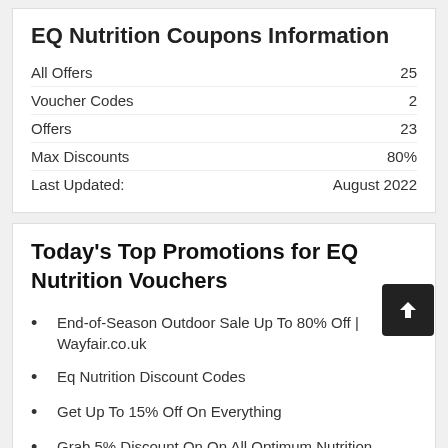EQ Nutrition Coupons Information
|  |  |
| --- | --- |
| All Offers | 25 |
| Voucher Codes | 2 |
| Offers | 23 |
| Max Discounts | 80% |
| Last Updated: | August 2022 |
Today's Top Promotions for EQ Nutrition Vouchers
End-of-Season Outdoor Sale Up To 80% Off | Wayfair.co.uk
Eq Nutrition Discount Codes
Get Up To 15% Off On Everything
Grab 5% Discount On On All Optimum Nutrition Products
Up To 30% Off On Order